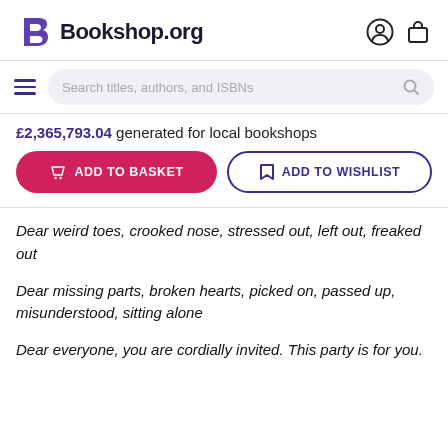Bookshop.org
Search titles, authors, and ISBNs
£2,365,793.04 generated for local bookshops
ADD TO BASKET
ADD TO WISHLIST
Dear weird toes, crooked nose, stressed out, left out, freaked out
Dear missing parts, broken hearts, picked on, passed up, misunderstood, sitting alone
Dear everyone, you are cordially invited. This party is for you.